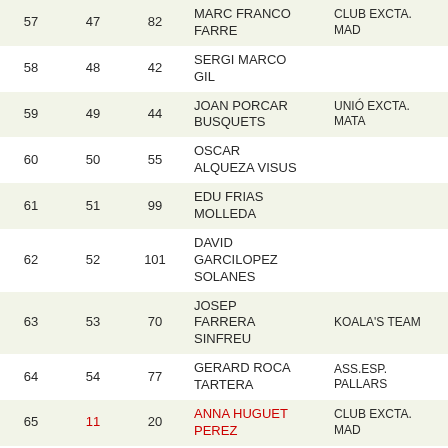| # | Cat# | Bib | Name | Club |
| --- | --- | --- | --- | --- |
| 57 | 47 | 82 | MARC FRANCO FARRE | CLUB EXCTA. MAD |
| 58 | 48 | 42 | SERGI MARCO GIL |  |
| 59 | 49 | 44 | JOAN PORCAR BUSQUETS | UNIÓ EXCTA. MATA |
| 60 | 50 | 55 | OSCAR ALQUEZA VISUS |  |
| 61 | 51 | 99 | EDU FRIAS MOLLEDA |  |
| 62 | 52 | 101 | DAVID GARCILOPEZ SOLANES |  |
| 63 | 53 | 70 | JOSEP FARRERA SINFREU | KOALA'S TEAM |
| 64 | 54 | 77 | GERARD ROCA TARTERA | ASS.ESP. PALLARS |
| 65 | 11 | 20 | ANNA HUGUET PEREZ | CLUB EXCTA. MAD |
| 66 | 55 | 68 | JAUME RIBOT CANER |  |
| 67 | 12 | 84 | BERTA PALLARES ALBANELL |  |
| 68 | 13 | 61 | JUDITH BUENO NADAL | CLUB ESQUI BERG |
| 69 | 56 | 75 | JOSE PASCUAL ROCHERA ALBA | RUNBCN |
| 70 | 57 | 53 | CESAR CORNEJO |  |